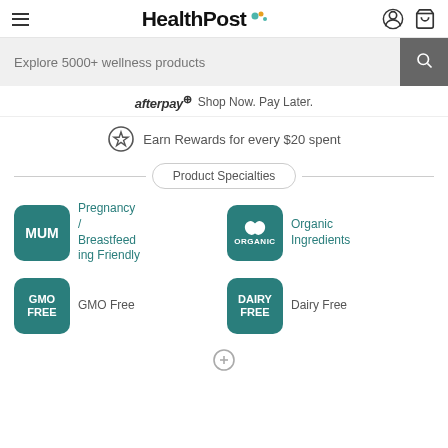HealthPost
Explore 5000+ wellness products
afterpay  Shop Now. Pay Later.
Earn Rewards for every $20 spent
Product Specialties
[Figure (logo): MUM badge - teal rounded square with white MUM text, label: Pregnancy / Breastfeeding Friendly]
[Figure (logo): ORGANIC badge - teal rounded square with leaf icons, label: Organic Ingredients]
[Figure (logo): GMO FREE badge - teal rounded square with white text, label: GMO Free]
[Figure (logo): DAIRY FREE badge - teal rounded square with white text, label: Dairy Free]